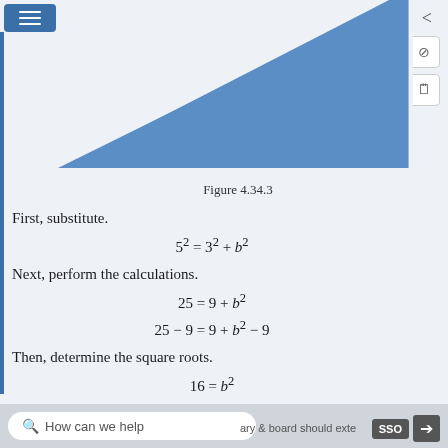[Figure (illustration): Blue filled right triangle with a vertical left side and horizontal bottom side, partially visible, representing a geometry figure for Pythagorean theorem problem.]
Figure 4.34.3
First, substitute.
Next, perform the calculations.
Then, determine the square roots.
How can we help   SSO